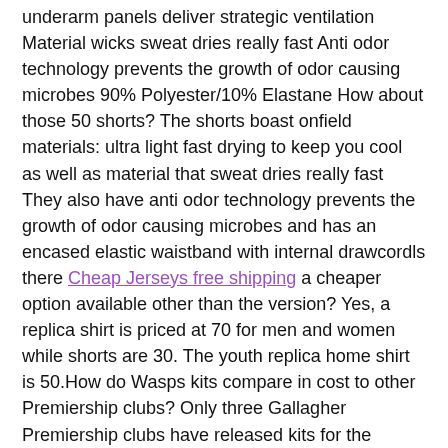underarm panels deliver strategic ventilation Material wicks sweat dries really fast Anti odor technology prevents the growth of odor causing microbes 90% Polyester/10% Elastane How about those 50 shorts? The shorts boast onfield materials: ultra light fast drying to keep you cool as well as material that sweat dries really fast They also have anti odor technology prevents the growth of odor causing microbes and has an encased elastic waistband with internal drawcordls there Cheap Jerseys free shipping a cheaper option available other than the version? Yes, a replica shirt is priced at 70 for men and women while shorts are 30. The youth replica home shirt is 50.How do Wasps kits compare in cost to other Premiership clubs? Only three Gallagher Premiership clubs have released kits for the 2019/20 season so far.Gloucester replica home shirts are on sale at 55 with shorts priced at 28. Junior shirts are 40, shorts 22 wholesale jerseys.